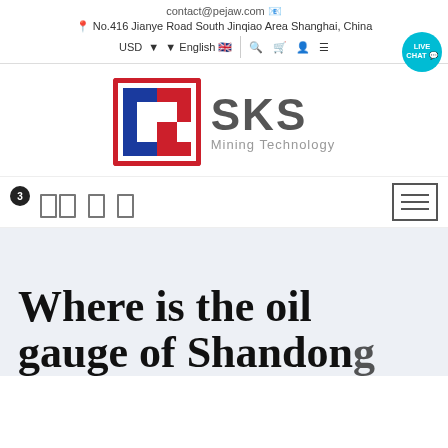contact@pejaw.com
No.416 Jianye Road South Jinqiao Area Shanghai, China
USD  English
[Figure (logo): SKS Mining Technology logo with red and blue interlocking S shapes in a square, bold SKS text and Mining Technology subtitle]
Where is the oil gauge of Shandong